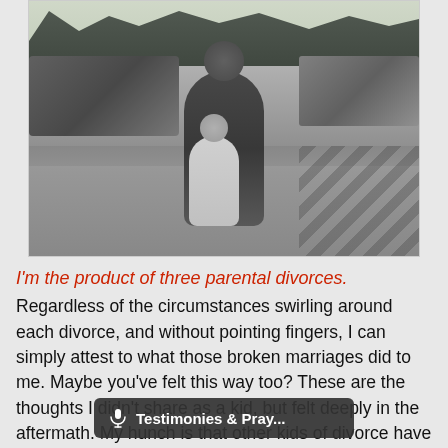[Figure (photo): Black and white photograph of an adult man standing behind a young child in a parking lot with trees and cars in the background.]
I'm the product of three parental divorces. Regardless of the circumstances swirling around each divorce, and without pointing fingers, I can simply attest to what those broken marriages did to me. Maybe you've felt this way too? These are the thoughts I didn't share as a kid, but felt deeply in the aftermath. My hunch is that other kids of divorce have felt similar.
Testimonies &amp; Pray...